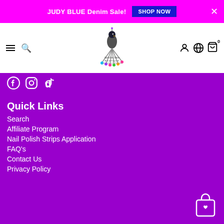JUDY BLUE Denim Sale! SHOP NOW
[Figure (logo): Fashion Flare Boutique logo with peacock and gem design]
[Figure (infographic): Navigation bar with hamburger menu, search, account, globe, and cart icons]
[Figure (infographic): Social media icons: Facebook, Instagram, TikTok]
Quick Links
Search
Affiliate Program
Nail Polish Strips Application
FAQ's
Contact Us
Privacy Policy